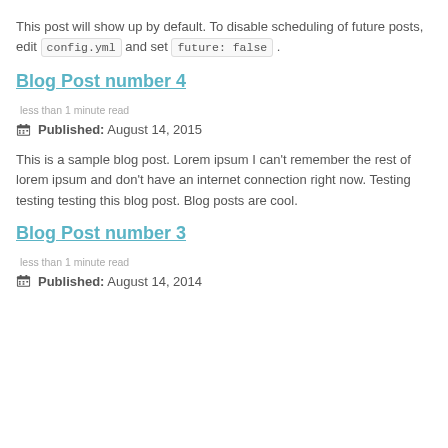This post will show up by default. To disable scheduling of future posts, edit config.yml and set future: false .
Blog Post number 4
less than 1 minute read
Published: August 14, 2015
This is a sample blog post. Lorem ipsum I can't remember the rest of lorem ipsum and don't have an internet connection right now. Testing testing testing this blog post. Blog posts are cool.
Blog Post number 3
less than 1 minute read
Published: August 14, 2014